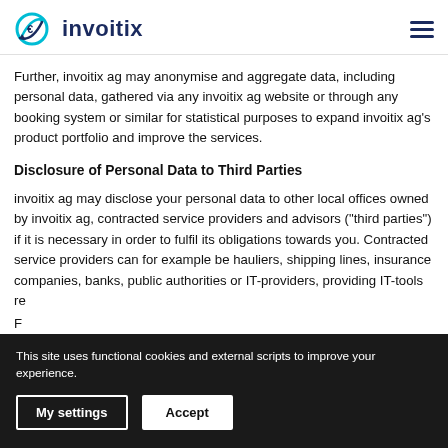invoitix logo and navigation
Further, invoitix ag may anonymise and aggregate data, including personal data, gathered via any invoitix ag website or through any booking system or similar for statistical purposes to expand invoitix ag's product portfolio and improve the services.
Disclosure of Personal Data to Third Parties
invoitix ag may disclose your personal data to other local offices owned by invoitix ag, contracted service providers and advisors ("third parties") if it is necessary in order to fulfil its obligations towards you. Contracted service providers can for example be hauliers, shipping lines, insurance companies, banks, public authorities or IT-providers, providing IT-tools re... F... with the use of invoitix ag's website, your participation in events or
This site uses functional cookies and external scripts to improve your experience.
My settings
Accept